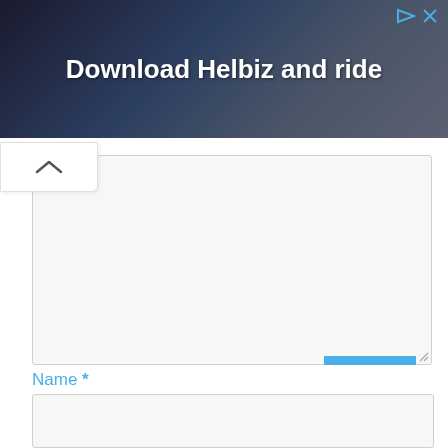[Figure (infographic): Advertisement banner with dark background showing 'Download Helbiz and ride' text with close/mute icons in top right corner]
[Figure (screenshot): Collapse/chevron up button below the ad banner]
Comment textarea (large empty input area)
Name *
Name input field (empty)
Email *
Email input field with scroll-to-top blue button